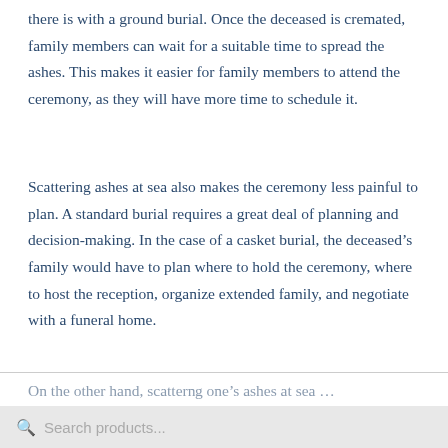there is with a ground burial. Once the deceased is cremated, family members can wait for a suitable time to spread the ashes. This makes it easier for family members to attend the ceremony, as they will have more time to schedule it.
Scattering ashes at sea also makes the ceremony less painful to plan. A standard burial requires a great deal of planning and decision-making. In the case of a casket burial, the deceased's family would have to plan where to hold the ceremony, where to host the reception, organize extended family, and negotiate with a funeral home.
On the other hand, scatter ng one's ashes at sea...
Search products...